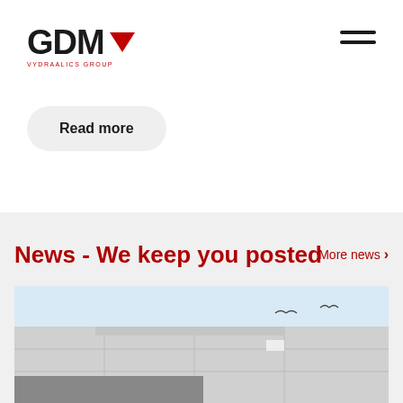[Figure (logo): GDM Hydraulics Group logo with red chevron/arrow icon and red subtext VYDRAALICS GROUP]
[Figure (other): Hamburger menu icon with three horizontal dark lines]
Read more
News - We keep you posted
More news >
[Figure (photo): Architectural photo of a modern concrete building with grey panels under a light blue sky with two birds flying]